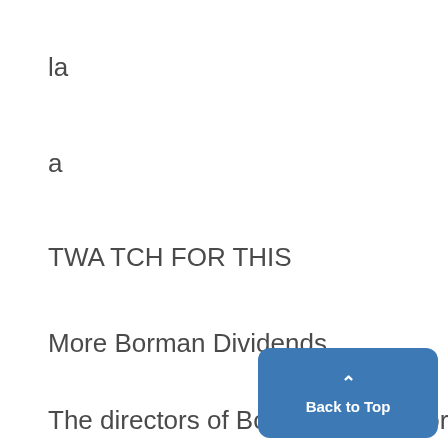la
a
TWA TCH FOR THIS
More Borman Dividends
The directors of Borman Food Stores declared a cash dividend of 20c per share, payable April 10, to stockholders of record o March 17. .This compares with